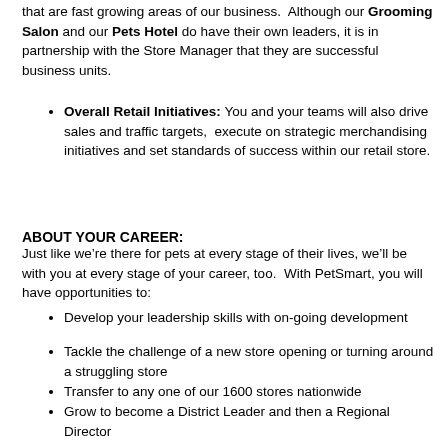that are fast growing areas of our business.  Although our Grooming Salon and our Pets Hotel do have their own leaders, it is in partnership with the Store Manager that they are successful business units.
Overall Retail Initiatives: You and your teams will also drive sales and traffic targets,  execute on strategic merchandising initiatives and set standards of success within our retail store.
ABOUT YOUR CAREER:
Just like we’re there for pets at every stage of their lives, we’ll be with you at every stage of your career, too.  With PetSmart, you will have opportunities to:
Develop your leadership skills with on-going development
Tackle the challenge of a new store opening or turning around a struggling store
Transfer to any one of our 1600 stores nationwide
Grow to become a District Leader and then a Regional Director
THE WARM AND FUZZIES:
We’ve highlighted job responsibilities as best as we could above—but the best parts of working at PetSmart...